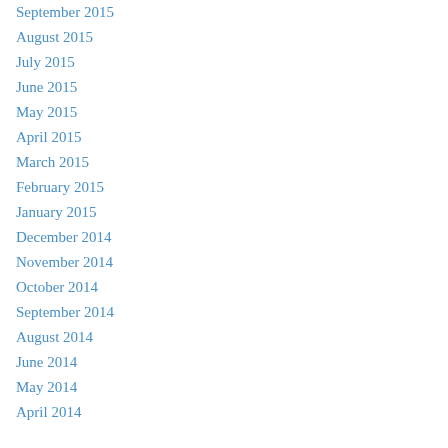September 2015
August 2015
July 2015
June 2015
May 2015
April 2015
March 2015
February 2015
January 2015
December 2014
November 2014
October 2014
September 2014
August 2014
June 2014
May 2014
April 2014
Categories
All
Animals